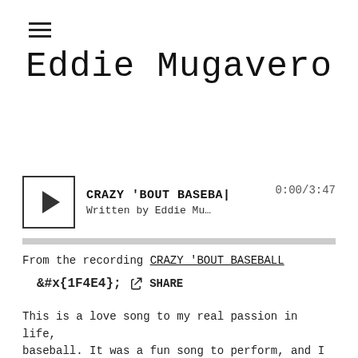[Figure (other): Hamburger menu icon (three horizontal lines)]
Eddie Mugavero
[Figure (other): Audio player widget showing play button, track title 'CRAZY 'BOUT BASEBA...' written by Eddie Mu..., time display 0:00/3:47, and a progress bar]
From the recording CRAZY 'BOUT BASEBALL
SHARE
This is a love song to my real passion in life, baseball. It was a fun song to perform, and I love the references to defense, bunting, putting baseball...